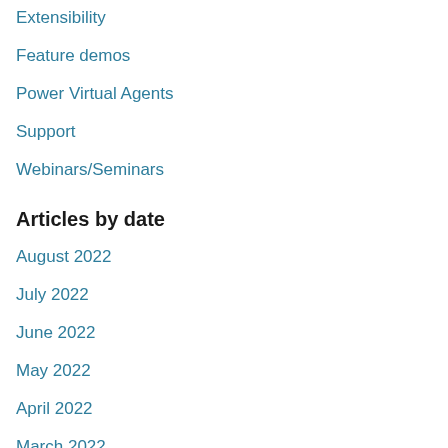Extensibility
Feature demos
Power Virtual Agents
Support
Webinars/Seminars
Articles by date
August 2022
July 2022
June 2022
May 2022
April 2022
March 2022